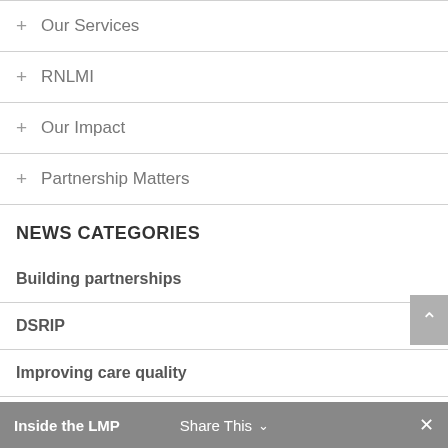+ Our Services
+ RNLMI
+ Our Impact
+ Partnership Matters
NEWS CATEGORIES
Building partnerships
DSRIP
Improving care quality
Improving patient satisfaction
Inside the LMP   Share This ∨   ×